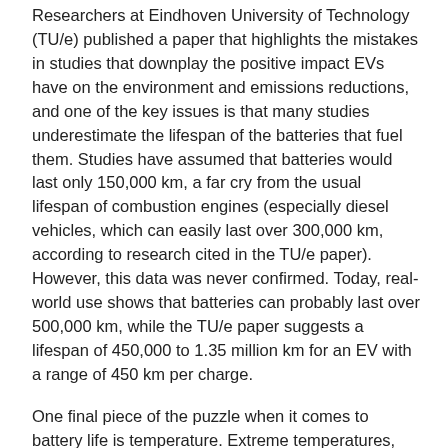Researchers at Eindhoven University of Technology (TU/e) published a paper that highlights the mistakes in studies that downplay the positive impact EVs have on the environment and emissions reductions, and one of the key issues is that many studies underestimate the lifespan of the batteries that fuel them. Studies have assumed that batteries would last only 150,000 km, a far cry from the usual lifespan of combustion engines (especially diesel vehicles, which can easily last over 300,000 km, according to research cited in the TU/e paper). However, this data was never confirmed. Today, real-world use shows that batteries can probably last over 500,000 km, while the TU/e paper suggests a lifespan of 450,000 to 1.35 million km for an EV with a range of 450 km per charge.
One final piece of the puzzle when it comes to battery life is temperature. Extreme temperatures, especially when they get hot, really hurt the lifespan of the battery, and many newer EVs have active cooling to help keep them happy. One comprehensive study from fleet management company Geotab says that the average rate of degradation is about 2.3 per cent annually, but that can be reduced to 1.6 per cent through good climate conditions and charging practices.
To help put customers at ease, automakers provide thorough